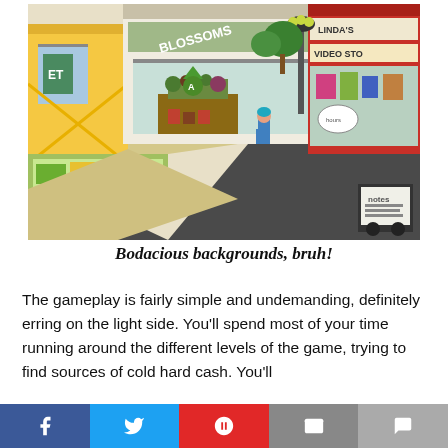[Figure (screenshot): Isometric pixel-art game screenshot showing a colorful street scene with shops including 'Blossoms' and 'Linda's Video Store', a character walking on the sidewalk, and various storefronts with plants, produce, and street furniture.]
Bodacious backgrounds, bruh!
The gameplay is fairly simple and undemanding, definitely erring on the light side. You'll spend most of your time running around the different levels of the game, trying to find sources of cold hard cash. You'll